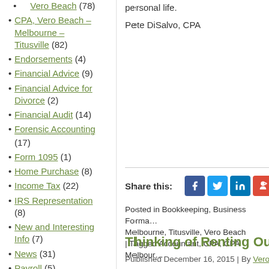Vero Beach (78)
CPA, Vero Beach – Melbourne – Titusville (82)
Endorsements (4)
Financial Advice (9)
Financial Advice for Divorce (2)
Financial Audit (14)
Forensic Accounting (17)
Form 1095 (1)
Home Purchase (8)
Income Tax (22)
IRS Representation (8)
New and Interesting Info (7)
News (31)
Payroll (5)
Quickbooks (12)
Reparation for…
personal life.
Pete DiSalvo, CPA
Share this:
Posted in Bookkeeping, Business Forma… Melbourne, Titusville, Vero Beach | Tagged Accountant, CPA, CPA Melbour…
Thinking of Renting Ou…
Published December 16, 2015 | By Vero…